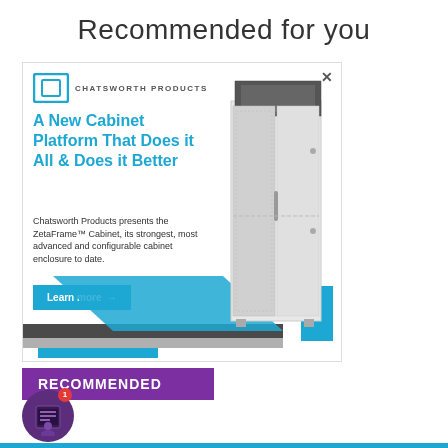Recommended for you
[Figure (advertisement): Chatsworth Products advertisement for ZetaFrame Cabinet. Shows CPI logo, headline 'A New Cabinet Platform That Does it All & Does it Better', body text about ZetaFrame Cabinet, Learn more button, and image of a server cabinet with blue decorative design elements.]
RECOMMENDED
[Figure (logo): Purple circular app icon with stacked cards/books motif and notification badge showing '1']